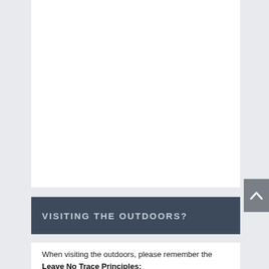[Figure (other): Large white rectangular area occupying top portion of the page, likely containing an image that is cropped out of view.]
VISITING THE OUTDOORS?
When visiting the outdoors, please remember the Leave No Trace Principles: